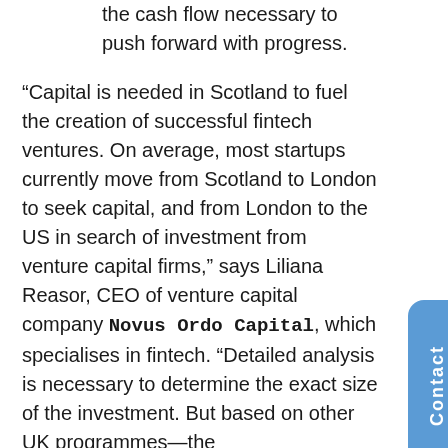the cash flow necessary to push forward with progress.
“Capital is needed in Scotland to fuel the creation of successful fintech ventures. On average, most startups currently move from Scotland to London to seek capital, and from London to the US in search of investment from venture capital firms,” says Liliana Reasor, CEO of venture capital company Novus Ordo Capital, which specialises in fintech. “Detailed analysis is necessary to determine the exact size of the investment. But based on other UK programmes—the